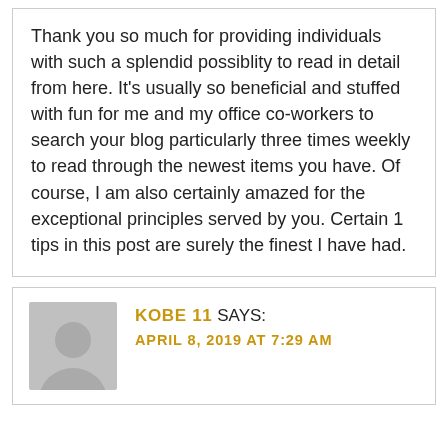Thank you so much for providing individuals with such a splendid possiblity to read in detail from here. It's usually so beneficial and stuffed with fun for me and my office co-workers to search your blog particularly three times weekly to read through the newest items you have. Of course, I am also certainly amazed for the exceptional principles served by you. Certain 1 tips in this post are surely the finest I have had.
KOBE 11 SAYS: APRIL 8, 2019 AT 7:29 AM